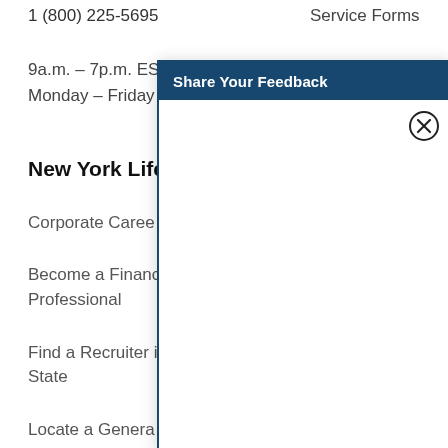1 (800) 225-5695
Service Forms
9a.m. – 7p.m. EST
Start a
Monday – Friday
New York Life
Corporate Careers
Become a Financial Professional
Find a Recruiter in Your State
Locate a General Office by State
New York Life Foundation
New York Life Ventures
[Figure (screenshot): Share Your Feedback modal dialog overlay with dark teal header, close button (X circle), and white body content area]